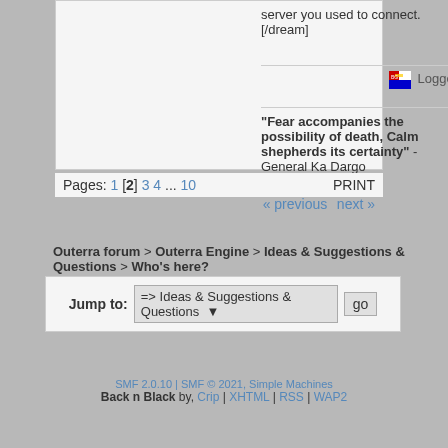server you used to connect. [/dream]
Logged
"Fear accompanies the possibility of death, Calm shepherds its certainty" - General Ka Dargo
Pages: 1 [2] 3 4 ... 10   PRINT
« previous  next »
Outerra forum > Outerra Engine > Ideas & Suggestions & Questions > Who's here?
Jump to: => Ideas & Suggestions & Questions   go
SMF 2.0.10 | SMF © 2021, Simple Machines   Back n Black by, Crip | XHTML | RSS | WAP2